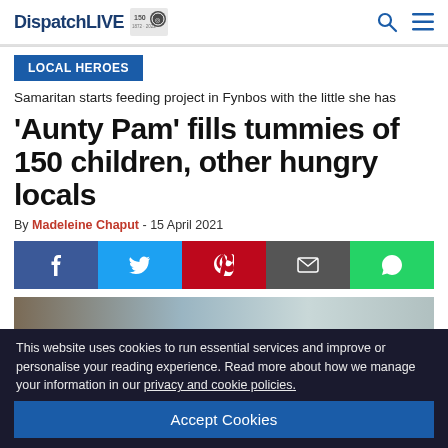DispatchLIVE
LOCAL HEROES
Samaritan starts feeding project in Fynbos with the little she has
'Aunty Pam' fills tummies of 150 children, other hungry locals
By Madeleine Chaput - 15 April 2021
[Figure (other): Social share buttons: Facebook, Twitter, Pinterest, Email, WhatsApp]
[Figure (photo): Partial photo visible at bottom of page]
This website uses cookies to run essential services and improve or personalise your reading experience. Read more about how we manage your information in our privacy and cookie policies.
Accept Cookies